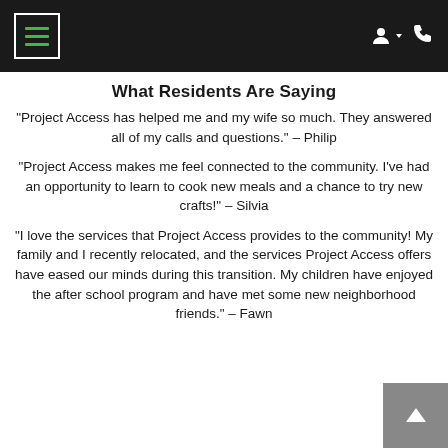What Residents Are Saying
"Project Access has helped me and my wife so much. They answered all of my calls and questions." - Philip
"Project Access makes me feel connected to the community. I've had an opportunity to learn to cook new meals and a chance to try new crafts!" - Silvia
"I love the services that Project Access provides to the community! My family and I recently relocated, and the services Project Access offers have eased our minds during this transition. My children have enjoyed the after school program and have met some new neighborhood friends." - Fawn